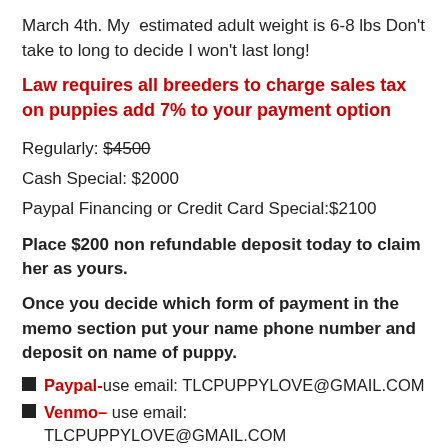March 4th. My estimated adult weight is 6-8 lbs Don't take to long to decide I won't last long!
Law requires all breeders to charge sales tax on puppies add 7% to your payment option
Regularly: $4500
Cash Special: $2000
Paypal Financing or Credit Card Special:$2100
Place $200 non refundable deposit today to claim her as yours.
Once you decide which form of payment in the memo section put your name phone number and deposit on name of puppy.
Paypal- use email: TLCPUPPYLOVE@GMAIL.COM
Venmo– use email: TLCPUPPYLOVE@GMAIL.COM